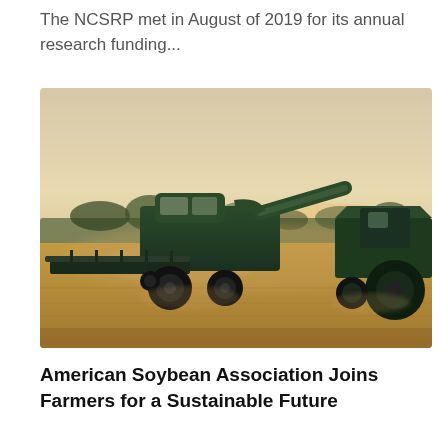The NCSRP met in August of 2019 for its annual research funding...
[Figure (photo): A combine harvester transferring grain to a tractor-pulled wagon in a harvested field at golden hour, with dust rising and trees visible in the background.]
American Soybean Association Joins Farmers for a Sustainable Future